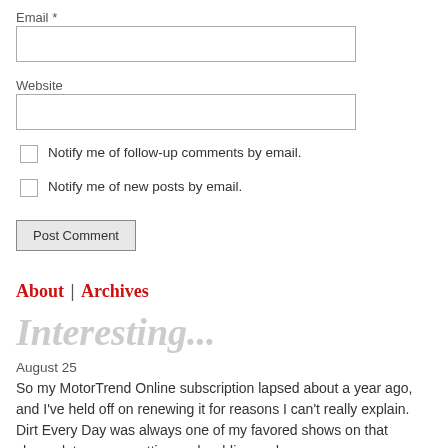Email *
Website
Notify me of follow-up comments by email.
Notify me of new posts by email.
Post Comment
About | Archives
Interesting...
August 25
So my MotorTrend Online subscription lapsed about a year ago, and I've held off on renewing it for reasons I can't really explain. Dirt Every Day was always one of my favored shows on that channel; two guys cutting and welding and